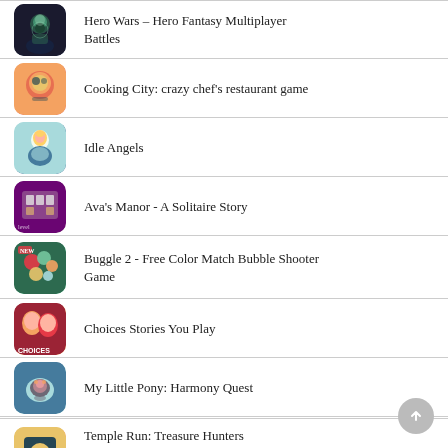Hero Wars – Hero Fantasy Multiplayer Battles
Cooking City: crazy chef's restaurant game
Idle Angels
Ava's Manor - A Solitaire Story
Buggle 2 - Free Color Match Bubble Shooter Game
Choices Stories You Play
My Little Pony: Harmony Quest
Temple Run: Treasure Hunters